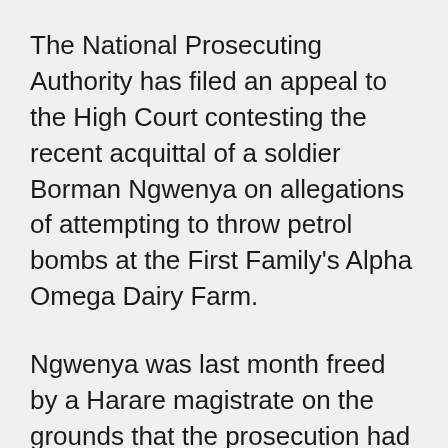The National Prosecuting Authority has filed an appeal to the High Court contesting the recent acquittal of a soldier Borman Ngwenya on allegations of attempting to throw petrol bombs at the First Family's Alpha Omega Dairy Farm.
Ngwenya was last month freed by a Harare magistrate on the grounds that the prosecution had failed to prove a case against him.
The magistrate, Ms Fadzai Mthombeni ruled that from the trial, it was clear that Ngwenya was a spy working for the military and that his arrest was not justified.